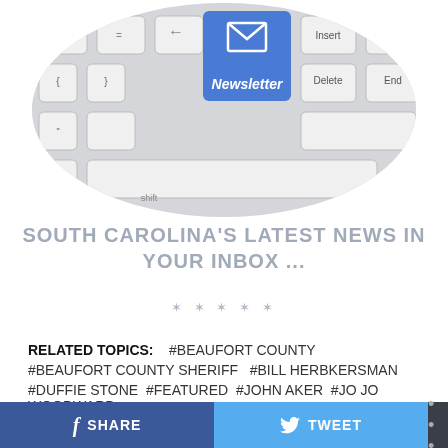[Figure (photo): Keyboard with a blue 'Newsletter' key featuring an envelope icon, shown in an oval/rounded rectangle crop]
SOUTH CAROLINA'S LATEST NEWS IN YOUR INBOX ...
✶✶✶✶✶
RELATED TOPICS: #BEAUFORT COUNTY #BEAUFORT COUNTY SHERIFF #BILL HERBKERSMAN #DUFFIE STONE #FEATURED #JOHN AKER #JO JO WOODWARD